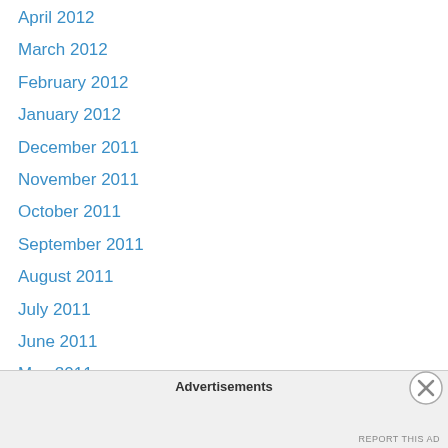April 2012
March 2012
February 2012
January 2012
December 2011
November 2011
October 2011
September 2011
August 2011
July 2011
June 2011
May 2011
April 2011
March 2011
February 2011
January 2011
December 2010
Advertisements
REPORT THIS AD